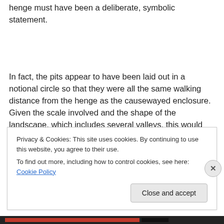henge must have been a deliberate, symbolic statement.
In fact, the pits appear to have been laid out in a notional circle so that they were all the same walking distance from the henge as the causewayed enclosure. Given the scale involved and the shape of the landscape, which includes several valleys, this would have been difficult to achieve without the existence of a tally or counting system. This is
Privacy & Cookies: This site uses cookies. By continuing to use this website, you agree to their use.
To find out more, including how to control cookies, see here: Cookie Policy
Close and accept